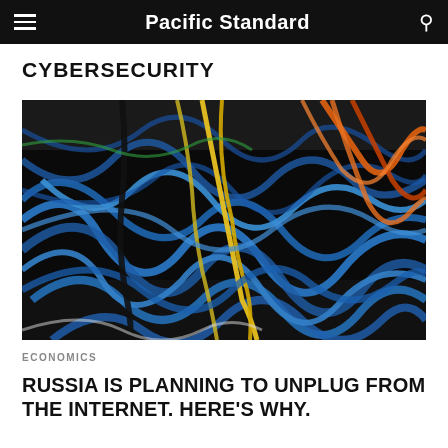Pacific Standard
CYBERSECURITY
[Figure (photo): A dense tangle of blue, yellow, and orange network cables plugged into server rack equipment. The cables fill the entire frame in a chaotic web pattern.]
ECONOMICS
RUSSIA IS PLANNING TO UNPLUG FROM THE INTERNET. HERE'S WHY.